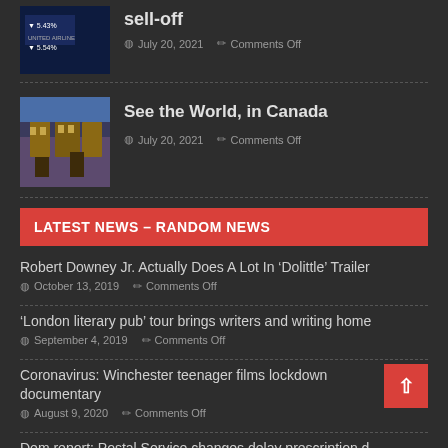[Figure (photo): Stock market data thumbnail showing red downward arrows with percentage values -5.43% and -5.54%]
sell-off
July 20, 2021   Comments Off
[Figure (photo): Photo of a picturesque Canadian street with old European-style buildings and colorful storefronts]
See the World, in Canada
July 20, 2021   Comments Off
LATEST NEWS – RANDOM NEWS
Robert Downey Jr. Actually Does A Lot In 'Dolittle' Trailer
October 13, 2019   Comments Off
'London literary pub' tour brings writers and writing home
September 4, 2019   Comments Off
Coronavirus: Winchester teenager films lockdown documentary
August 9, 2020   Comments Off
Dem report: Postal Service changes delay prescription d…
September 9, 2020   Comments Off